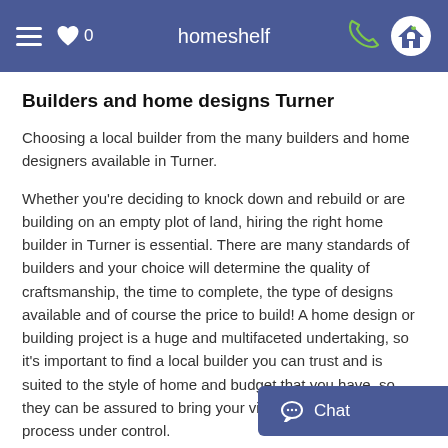homeshelf
Builders and home designs Turner
Choosing a local builder from the many builders and home designers available in Turner.
Whether you're deciding to knock down and rebuild or are building on an empty plot of land, hiring the right home builder in Turner is essential. There are many standards of builders and your choice will determine the quality of craftsmanship, the time to complete, the type of designs available and of course the price to build! A home design or building project is a huge and multifaceted undertaking, so it's important to find a local builder you can trust and is suited to the style of home and budget that you have, so they can be assured to bring your vision to life and keep the process under control.
Find a home builder on homeshelf.coma.au. Below are some builders which are local to T designs.